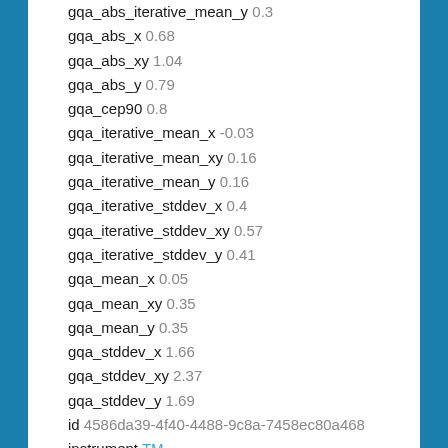gqa_abs_iterative_mean_y 0.3
gqa_abs_x 0.68
gqa_abs_xy 1.04
gqa_abs_y 0.79
gqa_cep90 0.8
gqa_iterative_mean_x -0.03
gqa_iterative_mean_xy 0.16
gqa_iterative_mean_y 0.16
gqa_iterative_stddev_x 0.4
gqa_iterative_stddev_xy 0.57
gqa_iterative_stddev_y 0.41
gqa_mean_x 0.05
gqa_mean_xy 0.35
gqa_mean_y 0.35
gqa_stddev_x 1.66
gqa_stddev_xy 2.37
gqa_stddev_y 1.69
id 4586da39-4f40-4488-9c8a-7458ec80a468
instrument TM
label ga_ls5t_ard_3-0-0_098071_2003-11-10_final